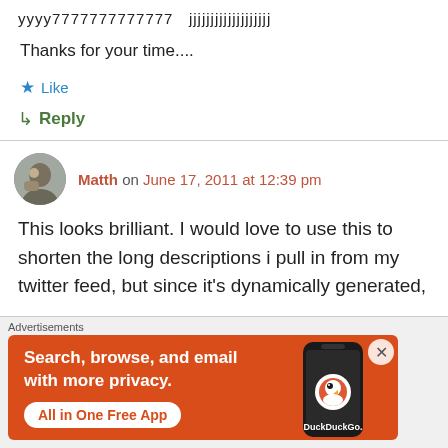yyyy7777777777777 jjjjjjjjjjjjjjjjjjj
Thanks for your time....
★ Like
↳ Reply
Matth on June 17, 2011 at 12:39 pm
This looks brilliant. I would love to use this to shorten the long descriptions i pull in from my twitter feed, but since it's dynamically generated,
Advertisements
[Figure (screenshot): DuckDuckGo advertisement banner: Search, browse, and email with more privacy. All in One Free App.]